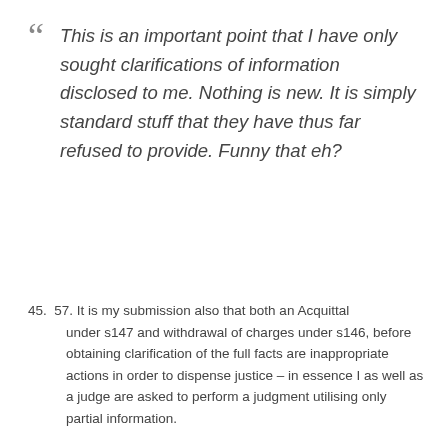“ This is an important point that I have only sought clarifications of information disclosed to me. Nothing is new. It is simply standard stuff that they have thus far refused to provide. Funny that eh?
45. 57. It is my submission also that both an Acquittal under s147 and withdrawal of charges under s146, before obtaining clarification of the full facts are inappropriate actions in order to dispense justice – in essence I as well as a judge are asked to perform a judgment utilising only partial information.